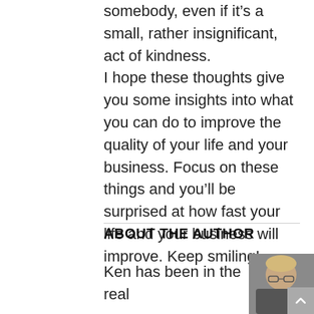somebody, even if it's a small, rather insignificant, act of kindness.
I hope these thoughts give you some insights into what you can do to improve the quality of your life and your business. Focus on these things and you'll be surprised at how fast your life and your business will improve. Keep smiling!
ABOUT THE AUTHOR
Ken has been in the real
[Figure (photo): Portrait photo of the author (Ken), an older man with glasses and blonde/white hair, against a grey background.]